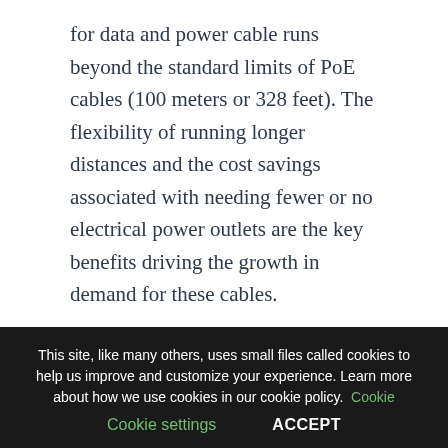for data and power cable runs beyond the standard limits of PoE cables (100 meters or 328 feet). The flexibility of running longer distances and the cost savings associated with needing fewer or no electrical power outlets are the key benefits driving the growth in demand for these cables.
Remee responded to this demand with their new Activate™ Powered Cable Solutions, a series of composite and Siamese fiber and copper cable constructions. Remee is unique among cable
This site, like many others, uses small files called cookies to help us improve and customize your experience. Learn more about how we use cookies in our cookie policy. Cookie settings ACCEPT